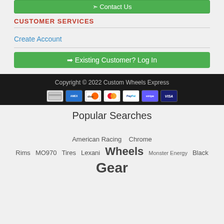Contact Us
CUSTOMER SERVICES
Create Account
Existing Customer? Log In
Copyright © 2022 Custom Wheels Express
[Figure (other): Payment method icons: generic card, American Express, Discover, Mastercard, PayPal, Stripe, Visa]
Popular Searches
American Racing   Chrome
Rims   MO970   Tires   Lexani   Wheels   Monster Energy   Black
Gear